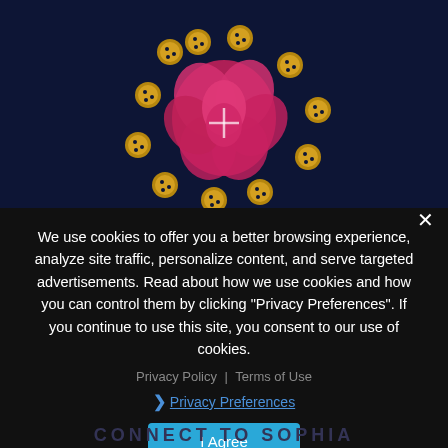[Figure (illustration): Dark navy blue background with a red/pink rose in the center surrounded by golden cookie icons arranged in a circle. The rose has a white cross/plus symbol overlay.]
We use cookies to offer you a better browsing experience, analyze site traffic, personalize content, and serve targeted advertisements. Read about how we use cookies and how you can control them by clicking "Privacy Preferences". If you continue to use this site, you consent to our use of cookies.
Privacy Policy | Terms of Use
› Privacy Preferences
I Agree
CONNECT TO SOPHIA